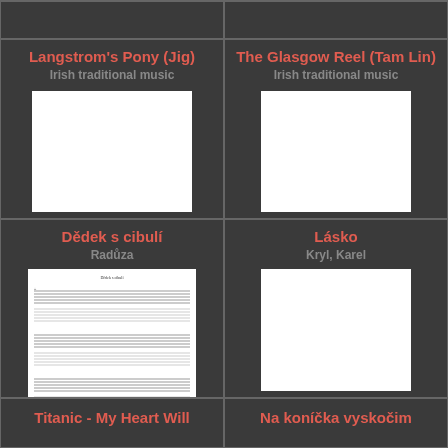Langstrom's Pony (Jig)
Irish traditional music
[Figure (other): Sheet music thumbnail - blank white page]
The Glasgow Reel (Tam Lin)
Irish traditional music
[Figure (other): Sheet music thumbnail - blank white page]
Dědek s cibulí
Radůza
[Figure (other): Sheet music thumbnail with visible musical notation lines]
Lásko
Kryl, Karel
[Figure (other): Sheet music thumbnail - mostly white page]
Titanic - My Heart Will
Na koníčka vyskočim